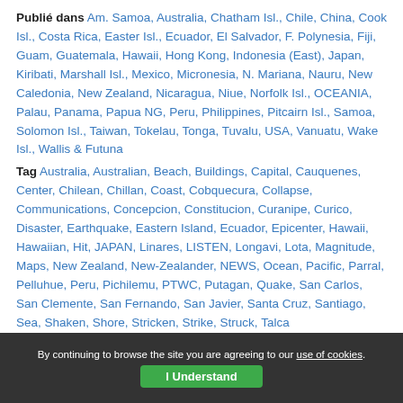Publié dans Am. Samoa, Australia, Chatham Isl., Chile, China, Cook Isl., Costa Rica, Easter Isl., Ecuador, El Salvador, F. Polynesia, Fiji, Guam, Guatemala, Hawaii, Hong Kong, Indonesia (East), Japan, Kiribati, Marshall Isl., Mexico, Micronesia, N. Mariana, Nauru, New Caledonia, New Zealand, Nicaragua, Niue, Norfolk Isl., OCEANIA, Palau, Panama, Papua NG, Peru, Philippines, Pitcairn Isl., Samoa, Solomon Isl., Taiwan, Tokelau, Tonga, Tuvalu, USA, Vanuatu, Wake Isl., Wallis & Futuna
Tag Australia, Australian, Beach, Buildings, Capital, Cauquenes, Center, Chilean, Chillan, Coast, Cobquecura, Collapse, Communications, Concepcion, Constitucion, Curanipe, Curico, Disaster, Earthquake, Eastern Island, Ecuador, Epicenter, Hawaii, Hawaiian, Hit, JAPAN, Linares, LISTEN, Longavi, Lota, Magnitude, Maps, New Zealand, New-Zealander, NEWS, Ocean, Pacific, Parral, Pelluhue, Peru, Pichilemu, PTWC, Putagan, Quake, San Carlos, San Clemente, San Fernando, San Javier, Santa Cruz, Santiago, Sea, Shaken, Shore, Stricken, Strike, Struck, Talca
By continuing to browse the site you are agreeing to our use of cookies. I Understand